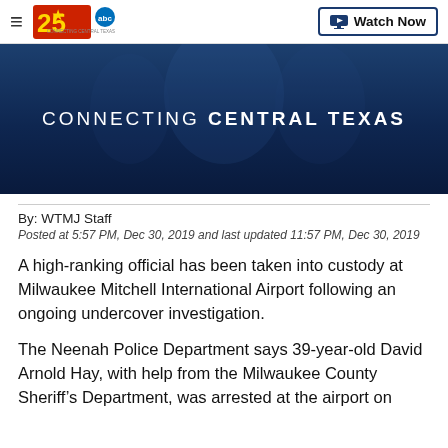CONNECTING CENTRAL TEXAS — 25 ABC | Watch Now
[Figure (screenshot): Dark blue hero banner with text 'CONNECTING CENTRAL TEXAS' over a blurred background image of people]
By: WTMJ Staff
Posted at 5:57 PM, Dec 30, 2019 and last updated 11:57 PM, Dec 30, 2019
A high-ranking official has been taken into custody at Milwaukee Mitchell International Airport following an ongoing undercover investigation.
The Neenah Police Department says 39-year-old David Arnold Hay, with help from the Milwaukee County Sheriff's Department, was arrested at the airport on